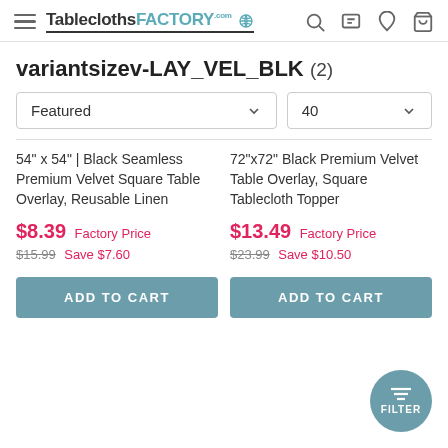TableclothsFACTORY.com [hamburger menu, search, chat, wishlist, cart icons]
variantsizev-LAY_VEL_BLK (2)
Featured dropdown, 40 dropdown
54" x 54" | Black Seamless Premium Velvet Square Table Overlay, Reusable Linen
$8.39 Factory Price
$15.99 Save $7.60
ADD TO CART
72"x72" Black Premium Velvet Table Overlay, Square Tablecloth Topper
$13.49 Factory Price
$23.99 Save $10.50
ADD TO CART